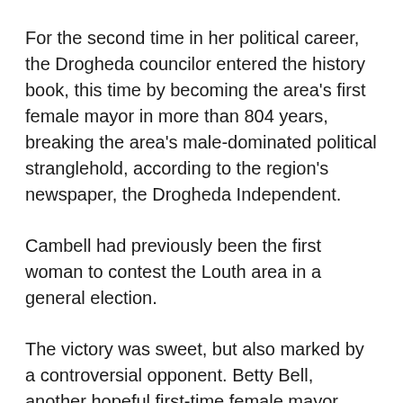For the second time in her political career, the Drogheda councilor entered the history book, this time by becoming the area's first female mayor in more than 804 years, breaking the area's male-dominated political stranglehold, according to the region's newspaper, the Drogheda Independent.
Cambell had previously been the first woman to contest the Louth area in a general election.
The victory was sweet, but also marked by a controversial opponent. Betty Bell, another hopeful first-time female mayor, described Cambell's appointment as a mockery of democracy and threatened to quit politics in an emotional outburst.